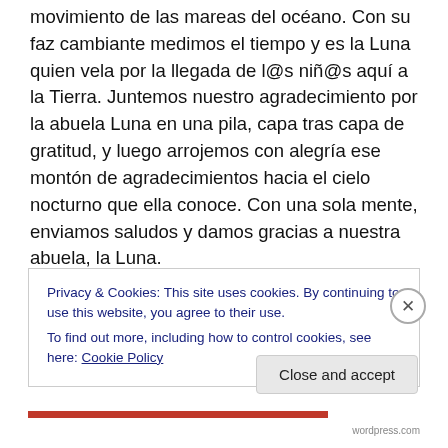Es la líder de las mujeres en todo el mundo y gobierna el movimiento de las mareas del océano. Con su faz cambiante medimos el tiempo y es la Luna quien vela por la llegada de l@s niñ@s aquí a la Tierra. Juntemos nuestro agradecimiento por la abuela Luna en una pila, capa tras capa de gratitud, y luego arrojemos con alegría ese montón de agradecimientos hacia el cielo nocturno que ella conoce. Con una sola mente, enviamos saludos y damos gracias a nuestra abuela, la Luna.
Damos gracias a las estrellas que se esparcen por el cielo como joyas. Las vemos de noche, ayudando a la Luna a
Privacy & Cookies: This site uses cookies. By continuing to use this website, you agree to their use.
To find out more, including how to control cookies, see here: Cookie Policy
Close and accept